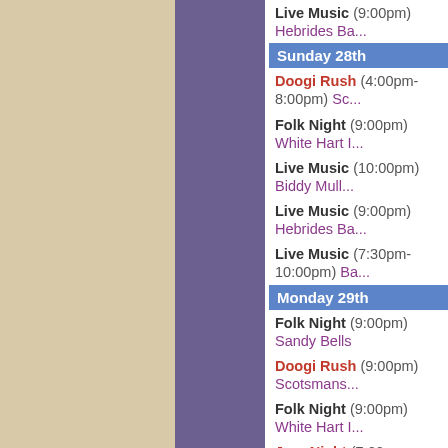Live Music (9:00pm) Hebrides Ba...
Sunday 28th
Doogi Rush (4:00pm-8:00pm) Sc...
Folk Night (9:00pm) White Hart I...
Live Music (10:00pm) Biddy Mull...
Live Music (9:00pm) Hebrides Ba...
Live Music (7:30pm-10:00pm) Ba...
Monday 29th
Folk Night (9:00pm) Sandy Bells
Doogi Rush (9:00pm) Scotsmans...
Folk Night (9:00pm) White Hart I...
Jazz Night (7:00pm-9:30pm) Her...
Open Mic Night (9:30pm) Whistle...
Tuesday 30th
Folk Night (9:00pm) Sandy Bells
Jazz Night (8:00pm) Malt Shovel...
Infinite Trio - Jazz (8:30pm) Sho...
Pub Quiz (8:00pm) Bailie, 2-4 St...
Open Mic Night (10:00pm) Blind...
Bobby Nicholson (9:00pm) Scot...